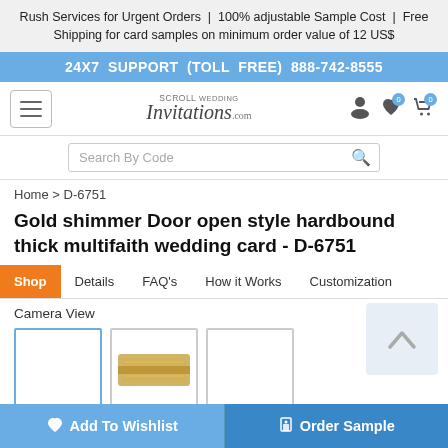Rush Services for Urgent Orders | 100% adjustable Sample Cost | Free Shipping for card samples on minimum order value of 12 US$
24X7 SUPPORT (TOLL FREE) 888-742-8555
[Figure (logo): Scroll Wedding Invitations .com logo with hamburger menu, user, heart, and cart icons]
Search By Code
Home > D-6751
Gold shimmer Door open style hardbound thick multifaith wedding card - D-6751
Shop | Details | FAQ's | How it Works | Customization
Camera View
[Figure (photo): Three product thumbnails: first empty, second showing gold shimmer card, third empty]
Add To Wishlist | Order Sample